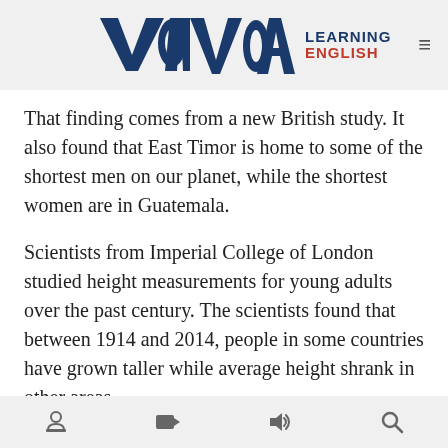VOA Learning English
That finding comes from a new British study. It also found that East Timor is home to some of the shortest men on our planet, while the shortest women are in Guatemala.
Scientists from Imperial College of London studied height measurements for young adults over the past century. The scientists found that between 1914 and 2014, people in some countries have grown taller while average height shrank in other areas.
The study found that Dutch men now have an average height of more than 182 centimeters. Among Latvian
navigation icons: book, video, audio, search